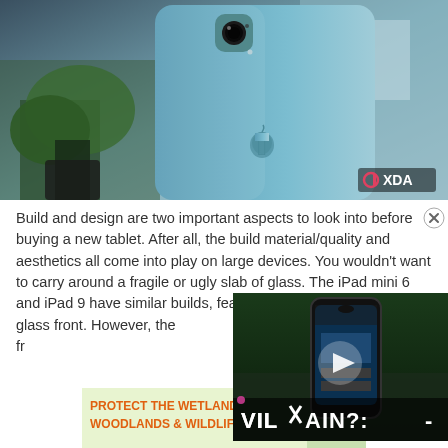[Figure (photo): Blue iPad mini shown from behind with camera, Apple logo visible, blurred indoor background with plants. XDA logo watermark in bottom right.]
Build and design are two important aspects to look into before buying a new tablet. After all, the build material/quality and aesthetics all come into play on large devices. You wouldn't want to carry around a fragile or ugly slab of glass. The iPad mini 6 and iPad 9 have similar builds, featuring an aluminum back and a glass front. However, they look quite different, particularly on the front side.
[Figure (screenshot): Video overlay showing a smartphone with text VILLAIN? overlaid, play button visible.]
[Figure (photo): Advertisement banner: PROTECT THE WETLANDS, WOODLANDS & WILDLIFE. with Smokey Bear illustration.]